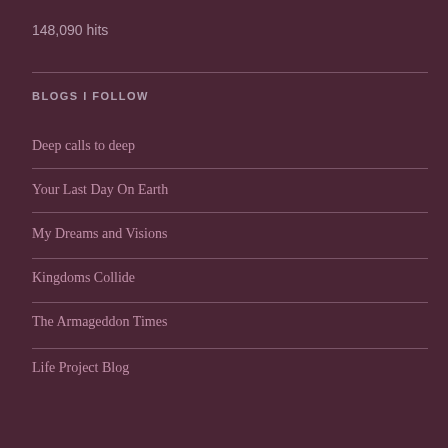148,090 hits
BLOGS I FOLLOW
Deep calls to deep
Your Last Day On Earth
My Dreams and Visions
Kingdoms Collide
The Armageddon Times
Life Project Blog